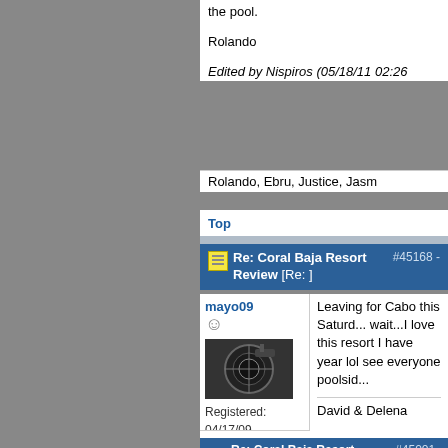the pool.

Rolando
Edited by Nispiros (05/18/11 02:26
Rolando, Ebru, Justice, Jasm
Top
Re: Coral Baja Resort Review [Re: ] #45168 -
mayo09
Registered: 04/17/09
Posts: 18
Loc: Dallas, TX
Leaving for Cabo this Saturd... wait...I love this resort I have year lol see everyone poolsid...
David & Delena
Top
Re: Coral Baja Resort Review #45001 -